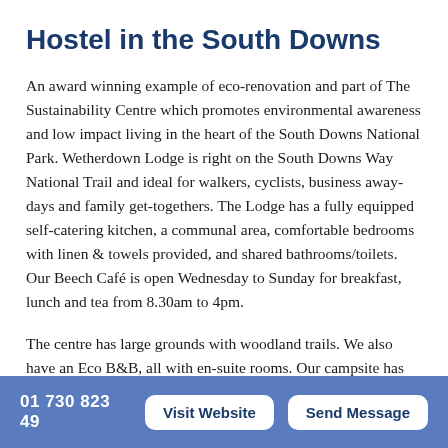Hostel in the South Downs
An award winning example of eco-renovation and part of The Sustainability Centre which promotes environmental awareness and low impact living in the heart of the South Downs National Park. Wetherdown Lodge is right on the South Downs Way National Trail and ideal for walkers, cyclists, business away-days and family get-togethers. The Lodge has a fully equipped self-catering kitchen, a communal area, comfortable bedrooms with linen & towels provided, and shared bathrooms/toilets. Our Beech Café is open Wednesday to Sunday for breakfast, lunch and tea from 8.30am to 4pm.
The centre has large grounds with woodland trails. We also have an Eco B&B, all with en-suite rooms. Our campsite has tipis and yurts, secluded woodland pitches and solar showers,
01 730 823 549   Visit Website   Send Message